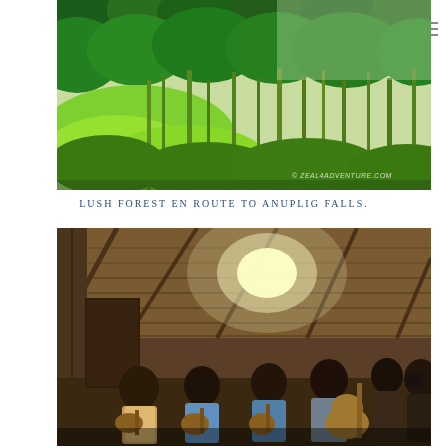[Figure (photo): Lush green forest and rice fields with tropical vegetation en route to Anuplig Falls. Watermark reads © ZEAL4ADVENTURE.COM]
LUSH FOREST EN ROUTE TO ANUPLIG FALLS.
[Figure (photo): Musicians playing guitars and a bass inside a nipa hut with thatched roof. Several people sitting and playing stringed instruments, with onlookers on the right side.]